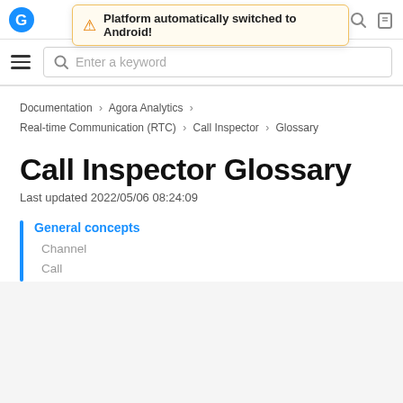[Figure (screenshot): Notification banner: Platform automatically switched to Android!]
Platform automatically switched to Android!
Documentation > Agora Analytics > Real-time Communication (RTC) > Call Inspector > Glossary
Call Inspector Glossary
Last updated 2022/05/06 08:24:09
General concepts
Channel
Call